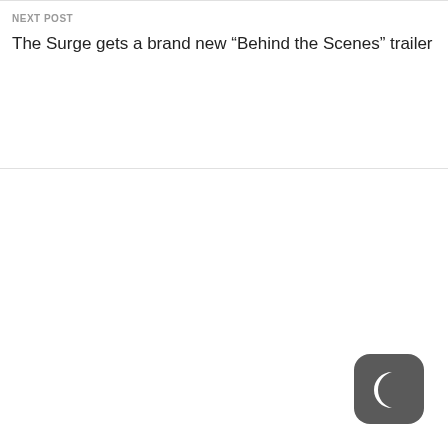NEXT POST
The Surge gets a brand new “Behind the Scenes” trailer
[Figure (logo): Dark rounded square icon with a white crescent moon shape, resembling a night mode or sleep button logo]